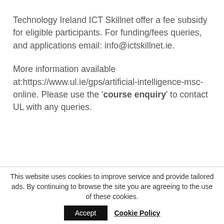Technology Ireland ICT Skillnet offer a fee subsidy for eligible participants. For funding/fees queries, and applications email: info@ictskillnet.ie.
More information available at:https://www.ul.ie/gps/artificial-intelligence-msc-online. Please use the 'course enquiry' to contact UL with any queries.
This website uses cookies to improve service and provide tailored ads. By continuing to browse the site you are agreeing to the use of these cookies. Accept Cookie Policy